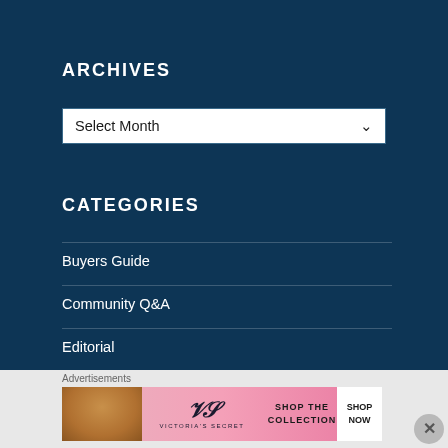ARCHIVES
Select Month
CATEGORIES
Buyers Guide
Community Q&A
Editorial
Advertisements
[Figure (photo): Victoria's Secret advertisement banner with a model, VS logo, 'SHOP THE COLLECTION' text, and 'SHOP NOW' button]